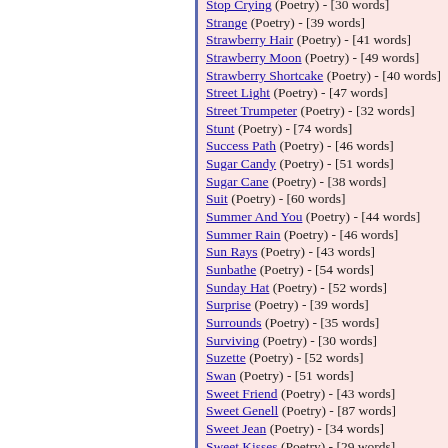Stop Crying (Poetry) - [30 words]
Strange (Poetry) - [39 words]
Strawberry Hair (Poetry) - [41 words]
Strawberry Moon (Poetry) - [49 words]
Strawberry Shortcake (Poetry) - [40 words]
Street Light (Poetry) - [47 words]
Street Trumpeter (Poetry) - [32 words]
Stunt (Poetry) - [74 words]
Success Path (Poetry) - [46 words]
Sugar Candy (Poetry) - [51 words]
Sugar Cane (Poetry) - [38 words]
Suit (Poetry) - [60 words]
Summer And You (Poetry) - [44 words]
Summer Rain (Poetry) - [46 words]
Sun Rays (Poetry) - [43 words]
Sunbathe (Poetry) - [54 words]
Sunday Hat (Poetry) - [52 words]
Surprise (Poetry) - [39 words]
Surrounds (Poetry) - [35 words]
Surviving (Poetry) - [30 words]
Suzette (Poetry) - [52 words]
Swan (Poetry) - [51 words]
Sweet Friend (Poetry) - [43 words]
Sweet Genell (Poetry) - [87 words]
Sweet Jean (Poetry) - [34 words]
Sweet Kisses (Poetry) - [29 words]